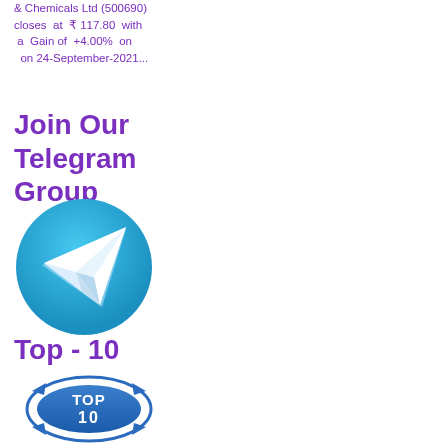& Chemicals Ltd (500690) closes at ₹ 117.80 with a Gain of +4.00% on on 24-September-2021...
Join Our Telegram Group
[Figure (logo): Telegram messenger app logo: blue circle with white paper plane icon]
Top - 10
[Figure (logo): Top 10 badge logo: blue stamp-style badge with TOP 10 text]